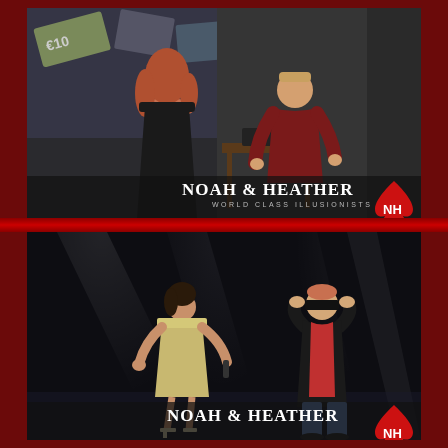[Figure (photo): Top photo: stage performance showing a woman in a black dress with her back to camera and a man in dark red shirt working at a table, with a projection screen showing euro notes and images in the background. Noah & Heather World Class Illusionists watermark with logo in bottom right.]
[Figure (photo): Bottom photo: dark stage with spotlights, showing a woman in a sparkly dress holding a microphone gesturing toward a man in a black jacket and jeans who is adjusting a blindfold over his eyes. Noah & Heather watermark with NH spade logo in bottom right.]